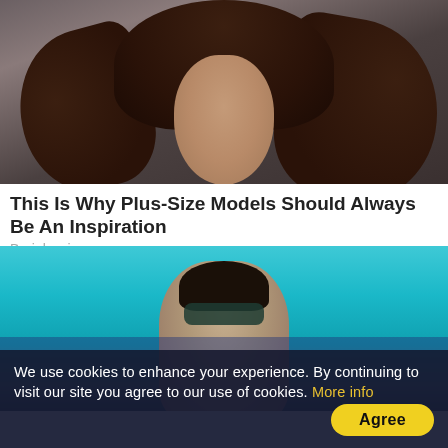[Figure (photo): Portrait photo of a young woman with long brown wavy hair and blue-green eyes against a dark grey background]
This Is Why Plus-Size Models Should Always Be An Inspiration
Brainberries
[Figure (photo): Photo of a man wearing sunglasses and a white shirt against a teal/turquoise background, with a small overlay image in the bottom right showing '9 Movie Scenes Tha']
We use cookies to enhance your experience. By continuing to visit our site you agree to our use of cookies. More info